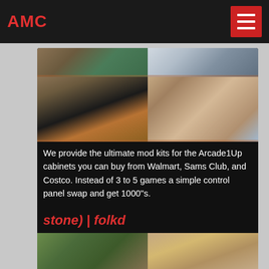AMC
[Figure (photo): Grid of four mining/quarry site photos showing industrial conveyor equipment and open pit quarry operations]
We provide the ultimate mod kits for the Arcade1Up cabinets you can buy from Walmart, Sams Club, and Costco. Instead of 3 to 5 games a simple control panel swap and get 1000"s.
stone) | folkd
[Figure (photo): Two mining/quarry site photos showing yellow industrial equipment and open sandy terrain]